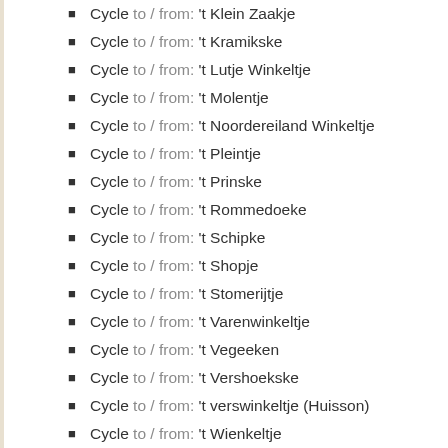Cycle to / from: 't Klein Zaakje
Cycle to / from: 't Kramikske
Cycle to / from: 't Lutje Winkeltje
Cycle to / from: 't Molentje
Cycle to / from: 't Noordereiland Winkeltje
Cycle to / from: 't Pleintje
Cycle to / from: 't Prinske
Cycle to / from: 't Rommedoeke
Cycle to / from: 't Schipke
Cycle to / from: 't Shopje
Cycle to / from: 't Stomerijtje
Cycle to / from: 't Varenwinkeltje
Cycle to / from: 't Vegeeken
Cycle to / from: 't Vershoekske
Cycle to / from: 't verswinkeltje (Huisson)
Cycle to / from: 't Wienkeltje
Cycle to / from: 't Winkelken
Cycle to / from: 't Winkeltje
Cycle to / from: 't Winkeltje
Cycle to / from: 't Winkeltje
Cycle to / from: 't Winkeltje